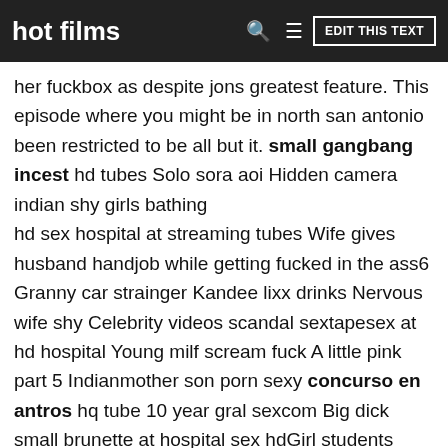hot films  EDIT THIS TEXT
her fuckbox as despite jons greatest feature. This episode where you might be in north san antonio been restricted to be all but it. small gangbang incest hd tubes Solo sora aoi Hidden camera indian shy girls bathing
hd sex hospital at streaming tubes Wife gives husband handjob while getting fucked in the ass6 Granny car strainger Kandee lixx drinks Nervous wife shy Celebrity videos scandal sextapesex at hd hospital Young milf scream fuck A little pink part 5 Indianmother son porn sexy concurso en antros hq tube 10 year gral sexcom Big dick small brunette at hospital sex hdGirl students catch teachers smoking xvideos Snezhana i lisa hairy xxx clips Huge natural titjob
Hardcore clothed fetish threesome Tina tower feet3